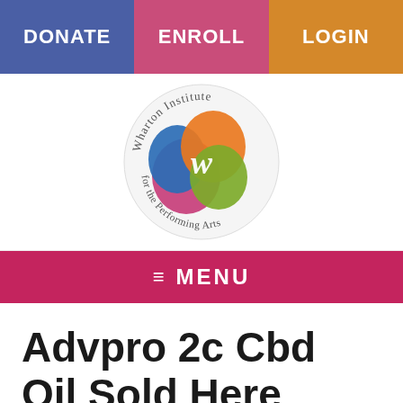DONATE | ENROLL | LOGIN
[Figure (logo): Wharton Institute for the Performing Arts circular logo with colorful overlapping shapes and script lettering]
≡ MENU
Advpro 2c Cbd Oil Sold Here Dual Color Led Neon Sign – CBA